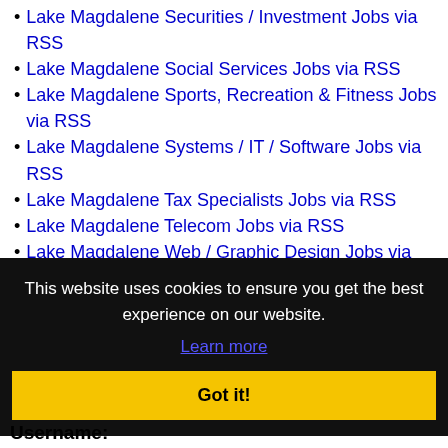Lake Magdalene Securities / Investment Jobs via RSS
Lake Magdalene Social Services Jobs via RSS
Lake Magdalene Sports, Recreation & Fitness Jobs via RSS
Lake Magdalene Systems / IT / Software Jobs via RSS
Lake Magdalene Tax Specialists Jobs via RSS
Lake Magdalene Telecom Jobs via RSS
Lake Magdalene Web / Graphic Design Jobs via RSS
Lake Magdalene Wireless / Mobile Jobs via RSS
Lake Magdalene Work From Home Jobs via RSS
Lake Magdalene Writing Jobs via RSS
This website uses cookies to ensure you get the best experience on our website.
Learn more
Got it!
Username: